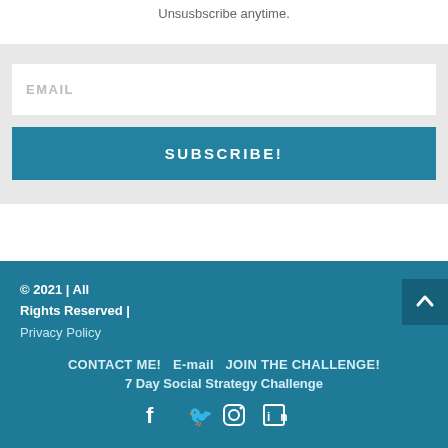Unsusbscribe anytime.
[Figure (screenshot): Email subscription form with EMAIL placeholder input and SUBSCRIBE! button on grey background]
© 2021 | All Rights Reserved | Privacy Policy
CONTACT ME!   E-mail   JOIN THE CHALLENGE!
7 Day Social Strategy Challenge
[social icons: Facebook, Twitter, Instagram, LinkedIn]